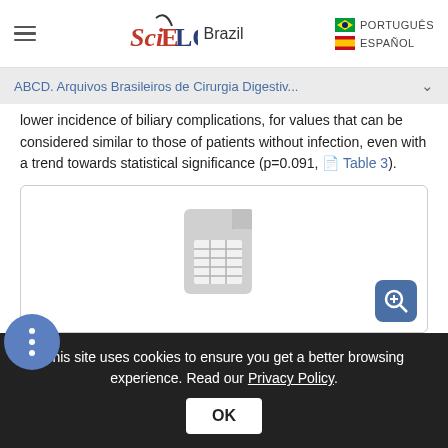SciELO Brazil — PORTUGUÉS / ESPAÑOL
ABCD. Arquivos Brasileiros de Cirurgia Digestiv...
lower incidence of biliary complications, for values that can be considered similar to those of patients without infection, even with a trend towards statistical significance (p=0.091, Table 3).
[Figure (other): Document/table icon placeholder with zoom-in button, representing Table 3]
This site uses cookies to ensure you get a better browsing experience. Read our Privacy Policy.